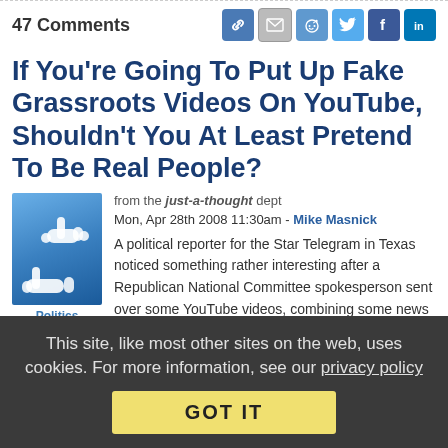47 Comments
If You're Going To Put Up Fake Grassroots Videos On YouTube, Shouldn't You At Least Pretend To Be Real People?
[Figure (illustration): White hand/cursor icons on a blue background, suggesting clicking or pointing]
from the just-a-thought dept
Mon, Apr 28th 2008 11:30am - Mike Masnick
A political reporter for the Star Telegram in Texas noticed something rather interesting after a Republican National Committee spokesperson sent over some YouTube videos, combining some news clips with snippets of comments from presidential
Politics
This site, like most other sites on the web, uses cookies. For more information, see our privacy policy
GOT IT